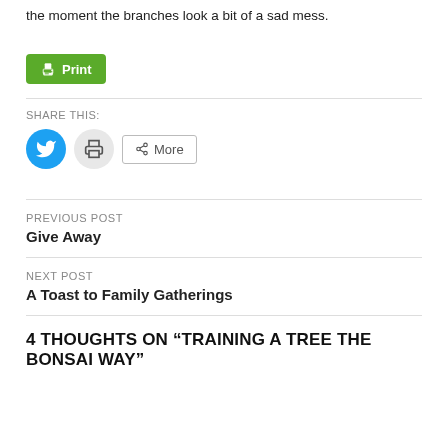the moment the branches look a bit of a sad mess.
[Figure (other): Green Print button with printer icon]
SHARE THIS:
[Figure (other): Social share buttons: Twitter (blue circle), Print (gray circle), More button]
PREVIOUS POST
Give Away
NEXT POST
A Toast to Family Gatherings
4 THOUGHTS ON “TRAINING A TREE THE BONSAI WAY”